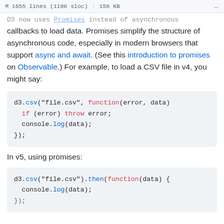1655 lines (1198 sloc)  |  158 KB  ...
D3 now uses Promises instead of asynchronous callbacks to load data. Promises simplify the structure of asynchronous code, especially in modern browsers that support async and await. (See this introduction to promises on Observable.) For example, to load a CSV file in v4, you might say:
d3.csv("file.csv", function(error, data) {
  if (error) throw error;
  console.log(data);
});
In v5, using promises:
d3.csv("file.csv").then(function(data) {
  console.log(data);
});